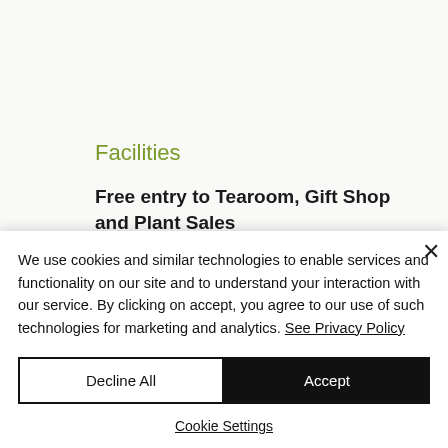Facilities
Free entry to Tearoom, Gift Shop and Plant Sales
Our Tearoom, Plant Sales and Gift Shop are
We use cookies and similar technologies to enable services and functionality on our site and to understand your interaction with our service. By clicking on accept, you agree to our use of such technologies for marketing and analytics. See Privacy Policy
Decline All
Accept
Cookie Settings